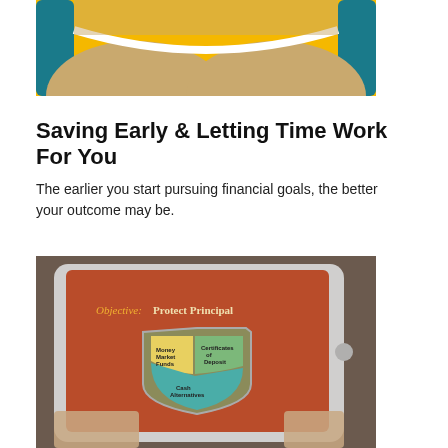[Figure (illustration): Partial view of an illustrated hourglass with teal/blue frame and sandy interior, on a yellow/orange background — top portion only visible, cropped at the bottom.]
Saving Early & Letting Time Work For You
The earlier you start pursuing financial goals, the better your outcome may be.
[Figure (photo): Photo of hands holding a tablet displaying a slide titled 'Objective: Protect Principal' with a shield graphic containing three segments labeled 'Money Market Funds', 'Certificates of Deposit', and 'Cash Alternatives', on an orange-red background.]